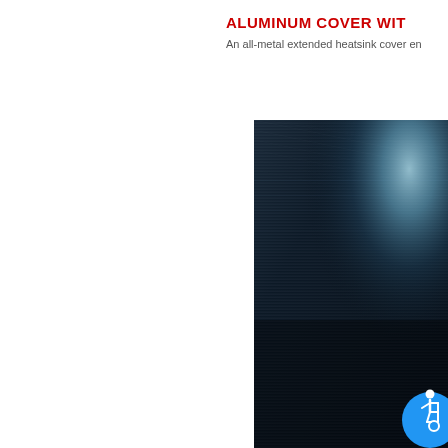ALUMINUM COVER WIT
An all-metal extended heatsink cover en
[Figure (photo): Brushed aluminum/metal surface with a blue-teal metallic sheen and light reflection in the upper right area, photographed against a dark background. A blue circular accessibility icon is visible in the lower right corner.]